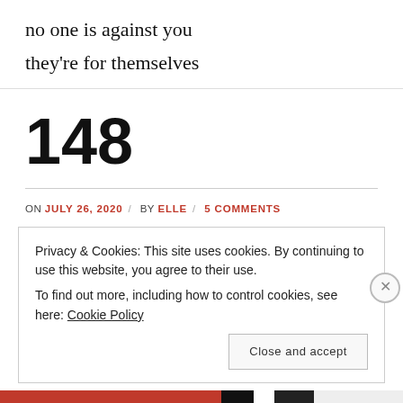no one is against you
they're for themselves
148
ON JULY 26, 2020 / BY ELLE / 5 COMMENTS
Privacy & Cookies: This site uses cookies. By continuing to use this website, you agree to their use.
To find out more, including how to control cookies, see here: Cookie Policy
Close and accept